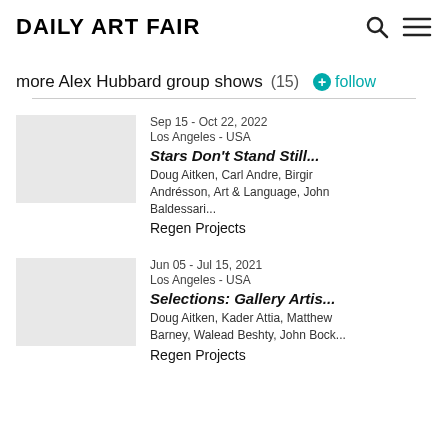Daily Art Fair
more Alex Hubbard group shows (15) follow
Sep 15 - Oct 22, 2022
Los Angeles - USA
Stars Don't Stand Still...
Doug Aitken, Carl Andre, Birgir Andrésson, Art & Language, John Baldessari...
Regen Projects
Jun 05 - Jul 15, 2021
Los Angeles - USA
Selections: Gallery Artis...
Doug Aitken, Kader Attia, Matthew Barney, Walead Beshty, John Bock...
Regen Projects